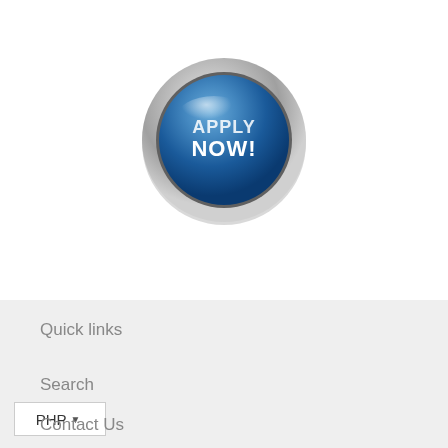[Figure (illustration): A circular 'Apply Now!' button with a blue glossy center and silver metallic ring border, showing text 'APPLY NOW!' in white on dark blue background]
Quick links
Search
PHP ▼
Contact Us